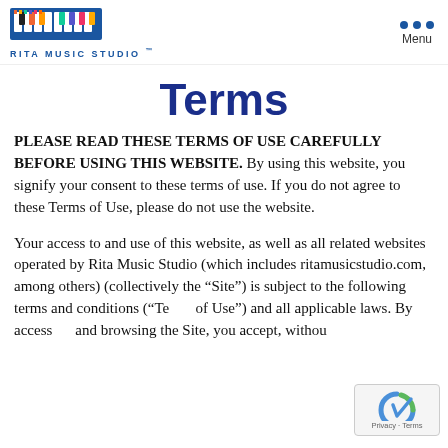RITA MUSIC STUDIO — Menu
Terms
PLEASE READ THESE TERMS OF USE CAREFULLY BEFORE USING THIS WEBSITE. By using this website, you signify your consent to these terms of use. If you do not agree to these Terms of Use, please do not use the website.
Your access to and use of this website, as well as all related websites operated by Rita Music Studio (which includes ritamusicstudio.com, among others) (collectively the “Site”) is subject to the following terms and conditions (“Te… of Use”) and all applicable laws. By access… and browsing the Site, you accept, withou…